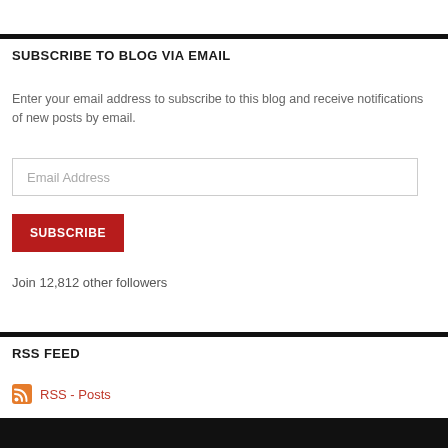SUBSCRIBE TO BLOG VIA EMAIL
Enter your email address to subscribe to this blog and receive notifications of new posts by email.
Email Address
SUBSCRIBE
Join 12,812 other followers
RSS FEED
RSS - Posts